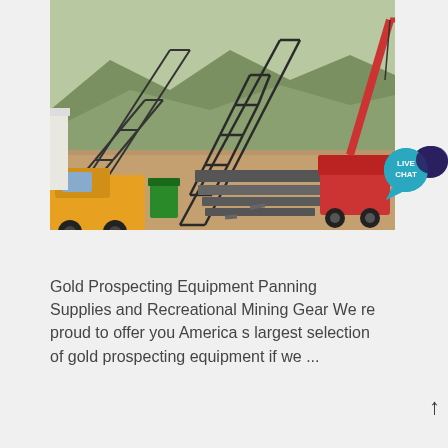[Figure (photo): Construction site with large metal conveyor/frame structures, a red crane, yellow heavy equipment, and green trash bin. Mountain and vegetation visible in background.]
Gold Prospecting Equipment Panning Supplies and Recreational Mining Gear We re proud to offer you America s largest selection of gold prospecting equipment if we ...